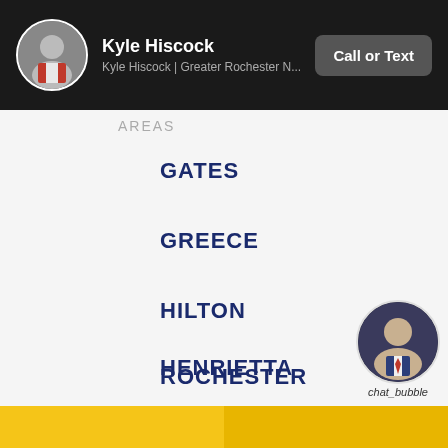Kyle Hiscock | Kyle Hiscock | Greater Rochester N... | Call or Text
AREAS (partial, truncated)
GATES
GREECE
HILTON
HENRIETTA
ROCHESTER
[Figure (photo): Circular profile photo of a man in a suit used as chat bubble icon, labeled chat_bubble]